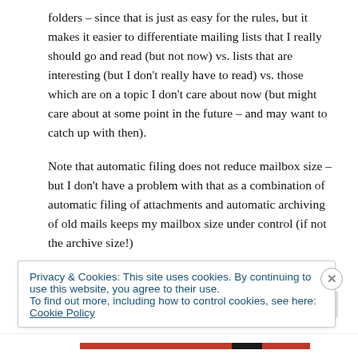folders – since that is just as easy for the rules, but it makes it easier to differentiate mailing lists that I really should go and read (but not now) vs. lists that are interesting (but I don't really have to read) vs. those which are on a topic I don't care about now (but might care about at some point in the future – and may want to catch up with then).
Note that automatic filing does not reduce mailbox size – but I don't have a problem with that as a combination of automatic filing of attachments and automatic archiving of old mails keeps my mailbox size under control (if not the archive size!)
I have to admit, I have never really got on with RSS Readers. Part of the problem is that they become a second inbox – and (for me)
Privacy & Cookies: This site uses cookies. By continuing to use this website, you agree to their use.
To find out more, including how to control cookies, see here: Cookie Policy
Close and accept